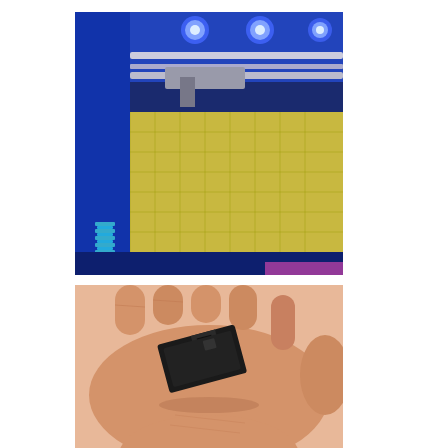[Figure (photo): Close-up photo of a 3D printer with blue LED lighting, showing the print bed with yellow masking tape/grid pattern and a spring-loaded bed leveling mechanism. The printer frame is blue metal.]
[Figure (photo): A hand holding a small 3D-printed black rectangular part with a slot/notch cut into it, shown against a skin-toned palm.]
A quick depth measurement, add some superglue and all was well. Note: when gluing things to acrylic, you’ll want to sandpaper the surface a bit. It gives